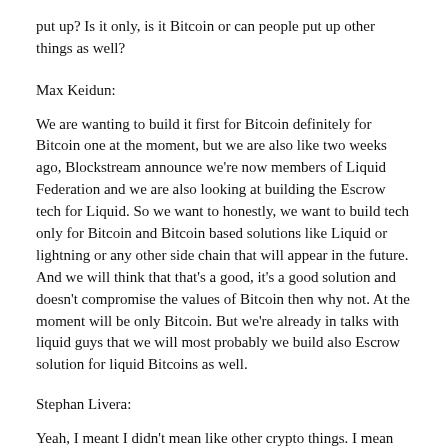put up? Is it only, is it Bitcoin or can people put up other things as well?
Max Keidun:
We are wanting to build it first for Bitcoin definitely for Bitcoin one at the moment, but we are also like two weeks ago, Blockstream announce we're now members of Liquid Federation and we are also looking at building the Escrow tech for Liquid. So we want to honestly, we want to build tech only for Bitcoin and Bitcoin based solutions like Liquid or lightning or any other side chain that will appear in the future. And we will think that that's a good, it's a good solution and doesn't compromise the values of Bitcoin then why not. At the moment will be only Bitcoin. But we're already in talks with liquid guys that we will most probably we build also Escrow solution for liquid Bitcoins as well.
Stephan Livera:
Yeah, I meant I didn't mean like other crypto things. I mean like even, other things.